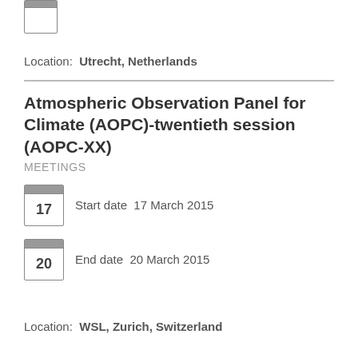[Figure (other): Small calendar icon showing partial date entry at top of page]
Location:  Utrecht, Netherlands
Atmospheric Observation Panel for Climate (AOPC)-twentieth session (AOPC-XX)
MEETINGS
Start date  17 March 2015
End date  20 March 2015
Location:  WSL, Zurich, Switzerland